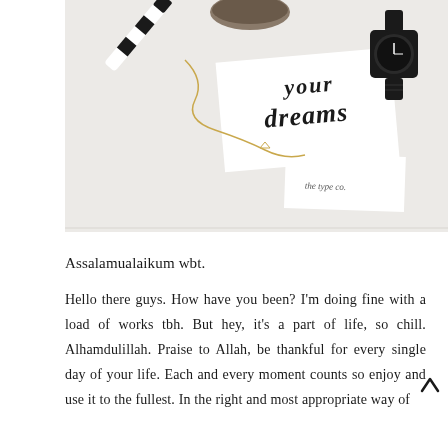[Figure (photo): Flat lay photo on white background showing a black wristwatch, a gold chain necklace, a striped straw, a card reading 'your dreams' in script font, and a business card saying 'the type co.']
Assalamualaikum wbt.
Hello there guys. How have you been? I'm doing fine with a load of works tbh. But hey, it's a part of life, so chill. Alhamdulillah. Praise to Allah, be thankful for every single day of your life. Each and every moment counts so enjoy and use it to the fullest. In the right and most appropriate way of